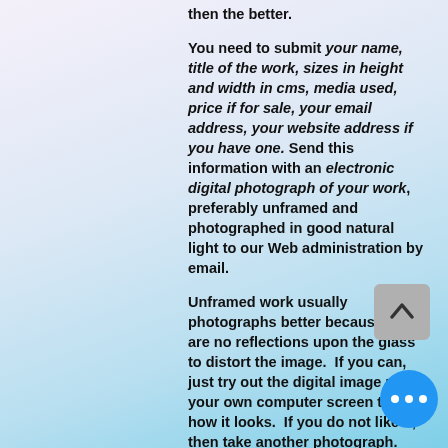then the better.
You need to submit your name, title of the work, sizes in height and width in cms, media used, price if for sale, your email address, your website address if you have one. Send this information with an electronic digital photograph of your work, preferably unframed and photographed in good natural light to our Web administration by email.
Unframed work usually photographs better because there are no reflections upon the glass to distort the image.  If you can, just try out the digital image upon your own computer screen to see how it looks.  If you do not like it, then take another photograph.
Use this email link to submit your work: send image.